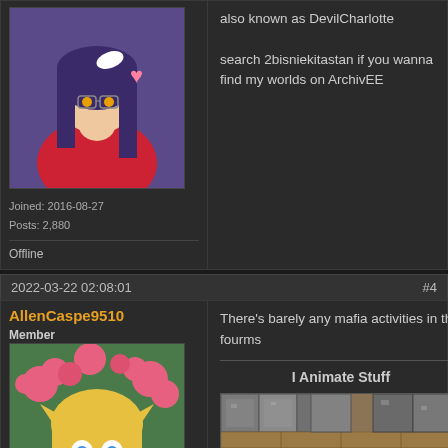[Figure (photo): Anime avatar: dark purple hair character in red hoodie with bow]
Joined: 2016-08-27
Posts: 2,880
Offline
also known as DevilCharlotte

search 2bisniekitastan if you wanna find my worlds on ArchivEE
2022-03-22 02:08:01
#4
AllenCaspe9510
Member
[Figure (illustration): Anime character with blonde hair surrounded by pink flowers]
From: Heart Locket
There's barely any mafia activities in the fourms
I Animate Stuff
[Figure (screenshot): Minecraft-style game screenshot showing stone/wood blocks]